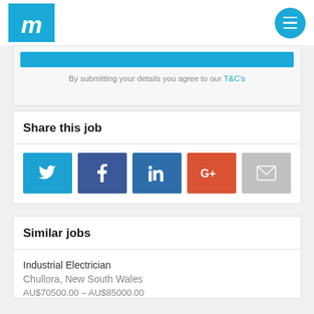m [logo] [menu button]
By submitting your details you agree to our T&C's
Share this job
[Figure (infographic): Social share buttons: Twitter (blue), Facebook (dark blue), LinkedIn (medium blue), Google+ (orange-red), Email (gray)]
Similar jobs
Industrial Electrician
Chullora, New South Wales
AU$70500.00 - AU$85000.00